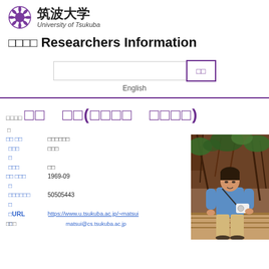[Figure (logo): University of Tsukuba logo with purple chrysanthemum emblem and Japanese/English text]
□□□□ Researchers Information
[Figure (screenshot): Search input box with a purple search button showing Japanese characters]
English
□□□□ □□ □□(□□□□ □□□□)
| Label | Value |
| --- | --- |
| □□ □□ | □□□□□□ |
| □□□ | □□□ |
| □□□ | □□ |
| □□ □□□ | 1969-09 |
| □□□□□□ | 50505443 |
| □URL | https://www.u.tsukuba.ac.jp/~matsui |
[Figure (photo): Photo of a man in a blue shirt with a camera strap, standing on a wooden walkway surrounded by mangrove trees]